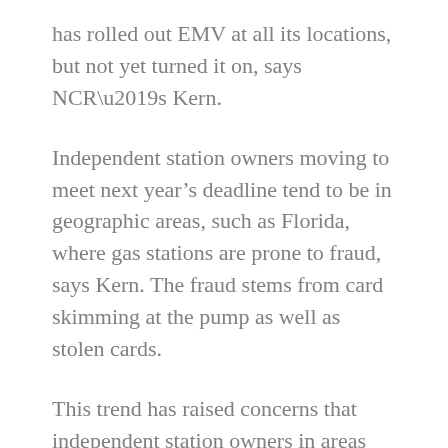has rolled out EMV at all its locations, but not yet turned it on, says NCR’s Kern.
Independent station owners moving to meet next year’s deadline tend to be in geographic areas, such as Florida, where gas stations are prone to fraud, says Kern. The fraud stems from card skimming at the pump as well as stolen cards.
This trend has raised concerns that independent station owners in areas less prone to fraud may be more willing to gamble by delaying EMV implementation.
“A lot of independent station owners look at the average cost of chargebacks for the